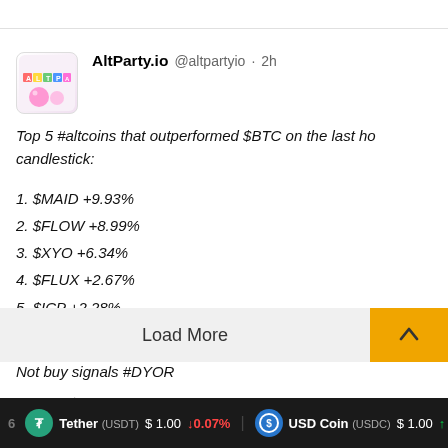[Figure (screenshot): AltParty.io Twitter/social media post screenshot showing top 5 altcoins that outperformed BTC, with a profile avatar, tweet text, action icons, Load More button, scroll-up button, and a ticker bar at the bottom showing Tether (USDT) and USD Coin (USDC) prices.]
AltParty.io @altpartyio · 2h
Top 5 #altcoins that outperformed $BTC on the last h... candlestick:

1. $MAID +9.93%
2. $FLOW +8.99%
3. $XYO +6.34%
4. $FLUX +2.67%
5. $ICP +2.28%

See the other 187 and join the #altparty at http://AltPa...
Not buy signals #DYOR
Load More
Tether (USDT) $ 1.00 ↓0.07%   USD Coin (USDC) $ 1.00 ↑...